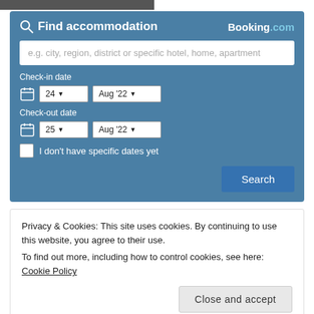[Figure (screenshot): Partial dark image strip at top of page]
Find accommodation
Booking.com
e.g. city, region, district or specific hotel, home, apartment
Check-in date
24  Aug '22
Check-out date
25  Aug '22
I don't have specific dates yet
Search
Privacy & Cookies: This site uses cookies. By continuing to use this website, you agree to their use.
To find out more, including how to control cookies, see here: Cookie Policy
Close and accept